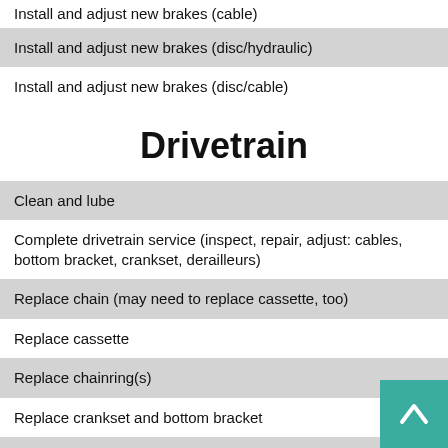Install and adjust new brakes (cable)
Install and adjust new brakes (disc/hydraulic)
Install and adjust new brakes (disc/cable)
Drivetrain
Clean and lube
Complete drivetrain service (inspect, repair, adjust: cables, bottom bracket, crankset, derailleurs)
Replace chain (may need to replace cassette, too)
Replace cassette
Replace chainring(s)
Replace crankset and bottom bracket
Adjust front derailleur
Adjust rear derailleur